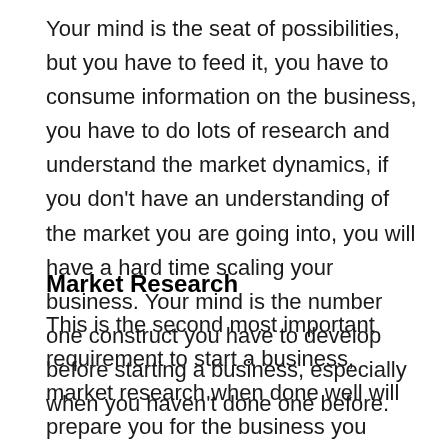Your mind is the seat of possibilities, but you have to feed it, you have to consume information on the business, you have to do lots of research and understand the market dynamics, if you don't have an understanding of the market you are going into, you will have a hard time scaling your business. Your mind is the number one construct you have to develop before starting a business, especially when you haven't done one before.
Market Research
This is the second most important requirement to start a business, market research when done well will prepare you for the business you want to venture into. Market Research is one requirement that has the potential to change your business life